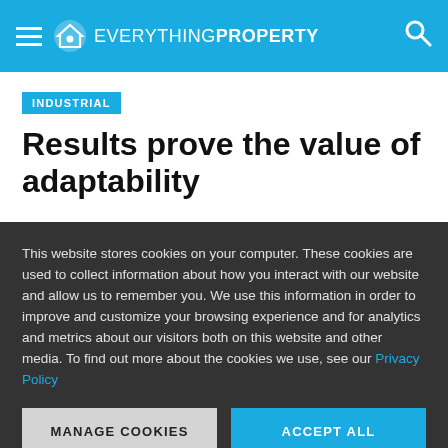EVERYTHING PROPERTY
INDUSTRIAL
Results prove the value of adaptability
This website stores cookies on your computer. These cookies are used to collect information about how you interact with our website and allow us to remember you. We use this information in order to improve and customize your browsing experience and for analytics and metrics about our visitors both on this website and other media. To find out more about the cookies we use, see our Privacy Policy
MANAGE COOKIES
ACCEPT ALL